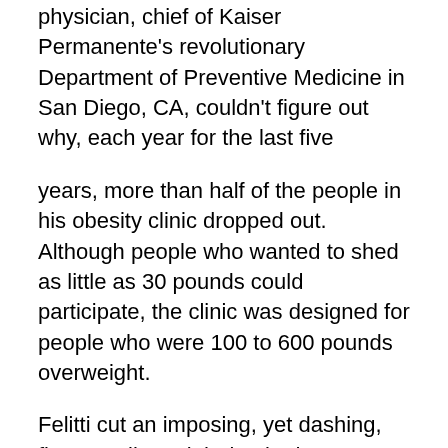physician, chief of Kaiser Permanente's revolutionary Department of Preventive Medicine in San Diego, CA, couldn't figure out why, each year for the last five
years, more than half of the people in his obesity clinic dropped out. Although people who wanted to shed as little as 30 pounds could participate, the clinic was designed for people who were 100 to 600 pounds overweight.
Felitti cut an imposing, yet dashing, figure. Tall, straight-backed, not a silver hair out of place, penetrating eyes, he was a doctor whom patients trusted implicitly, spoke of reverentially and rarely called by his first name. The preventive medicine department he created had become an international beacon for efficient and compassionate care. Every year, more than 50,000 people were screened for diseases that tests and machines could pick up before